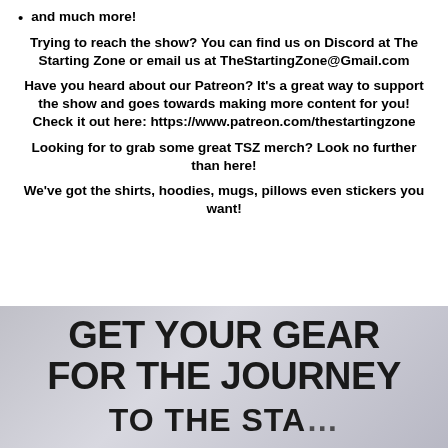and much more!
Trying to reach the show? You can find us on Discord at The Starting Zone or email us at TheStartingZone@Gmail.com
Have you heard about our Patreon? It's a great way to support the show and goes towards making more content for you! Check it out here: https://www.patreon.com/thestartingzone
Looking for to grab some great TSZ merch? Look no further than here!
We've got the shirts, hoodies, mugs, pillows even stickers you want!
[Figure (illustration): Banner image with text 'GET YOUR GEAR FOR THE JOURNEY' on a gray gradient background]